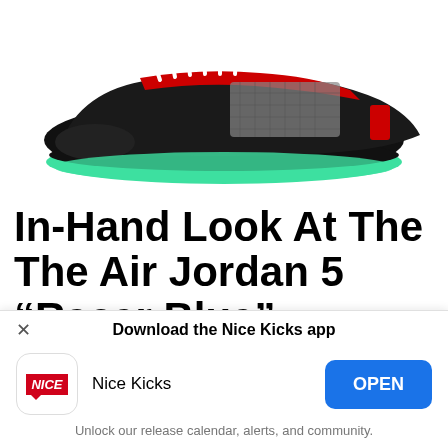[Figure (photo): Air Jordan 5 sneaker in black, grey mesh, red accents, white lace loops, and green glow sole, side profile view on white background]
In-Hand Look At The The Air Jordan 5 “Racer Blue”
[Figure (photo): Partial in-hand photo of an Air Jordan 5 Racer Blue sneaker being held against a beige/grey wall, showing the blue upper and black sole. A red calendar badge overlaid in the top-left shows Feb 12.]
Download the Nice Kicks app
Nice Kicks
OPEN
Unlock our release calendar, alerts, and community.